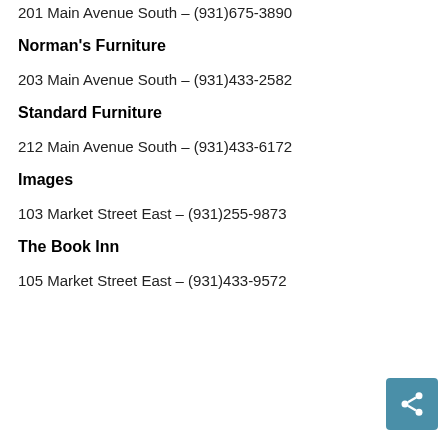201 Main Avenue South – (931)675-3890
Norman's Furniture
203 Main Avenue South – (931)433-2582
Standard Furniture
212 Main Avenue South – (931)433-6172
Images
103 Market Street East – (931)255-9873
The Book Inn
105 Market Street East – (931)433-9572